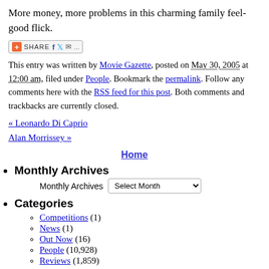More money, more problems in this charming family feel-good flick.
[Figure (other): Social share bar with icons for Facebook, Twitter, email and more]
This entry was written by Movie Gazette, posted on May 30, 2005 at 12:00 am, filed under People. Bookmark the permalink. Follow any comments here with the RSS feed for this post. Both comments and trackbacks are currently closed.
« Leonardo Di Caprio
Alan Morrissey »
Home
Monthly Archives
Monthly Archives [Select Month dropdown]
Categories
Competitions (1)
News (1)
Out Now (16)
People (10,928)
Reviews (1,859)